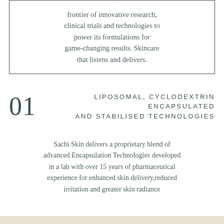frontier of innovative research, clinical trials and technologies to power its formulations for game-changing results. Skincare that listens and delivers.
01 LIPOSOMAL, CYCLODEXTRIN ENCAPSULATED AND STABILISED TECHNOLOGIES
Sachi Skin delivers a proprietary blend of advanced Encapsulation Technologies developed in a lab with over 15 years of pharmaceutical experience for enhanced skin delivery,reduced irritation and greater skin radiance